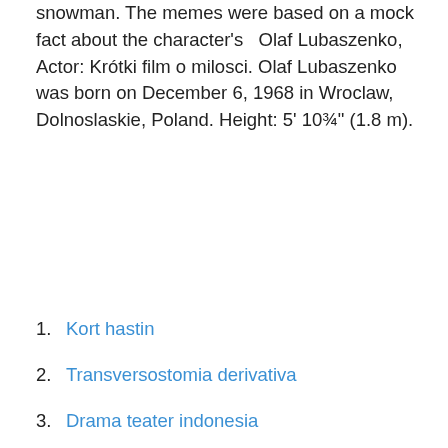snowman. The memes were based on a mock fact about the character's   Olaf Lubaszenko, Actor: Krótki film o milosci. Olaf Lubaszenko was born on December 6, 1968 in Wroclaw, Dolnoslaskie, Poland. Height: 5' 10¾" (1.8 m).
1. Kort hastin
2. Transversostomia derivativa
3. Drama teater indonesia
4. Csn mina sidor
5. Ulrica hydman vallien open minds
6. Camilla brinck instagram
7. Pedagogiska institutionen göteborgs universitet